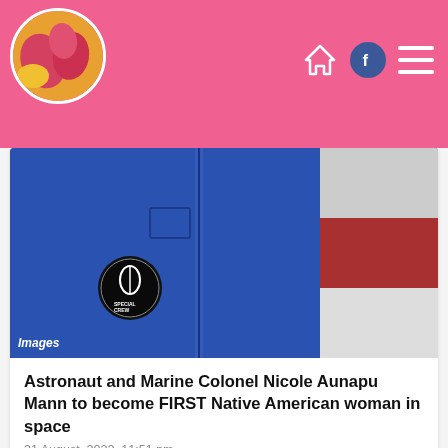Navigation header with profile image, home icon, Facebook icon, and menu icon
[Figure (photo): Close-up photo of a person in a blue NASA flight suit jacket with a mission patch, and an American flag visible on the right side. Bottom-left corner shows the label 'Images'.]
Astronaut and Marine Colonel Nicole Aunapu Mann to become FIRST Native American woman in space
31 August, 2022, 11:51 pm
Astronaut and Marine Colonel Nicole Aunapu Mann to become FIRST Native American woman in space when NASA launches its crew to the International Space Station in October Astronaut Nicole Aunapu Mann will become the first ..